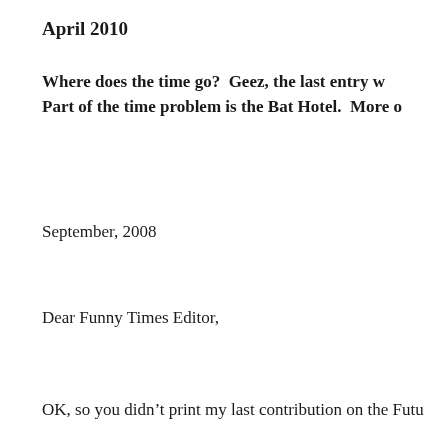April 2010
Where does the time go?  Geez, the last entry w... Part of the time problem is the Bat Hotel.  More o...
September, 2008
Dear Funny Times Editor,
OK, so you didn’t print my last contribution on the Futu...